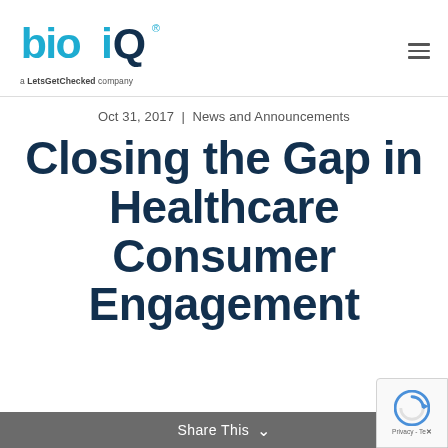bioiQ — a LetsGetChecked company
Oct 31, 2017  |  News and Announcements
Closing the Gap in Healthcare Consumer Engagement